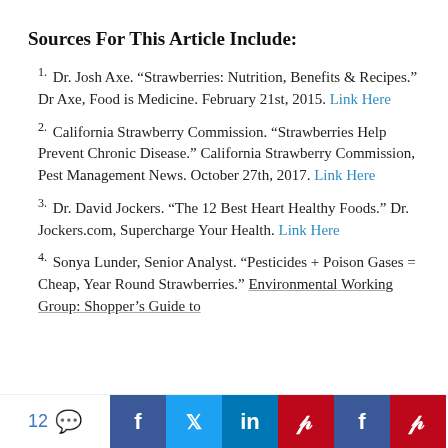Sources For This Article Include:
1. Dr. Josh Axe. “Strawberries: Nutrition, Benefits & Recipes.” Dr Axe, Food is Medicine. February 21st, 2015. Link Here
2. California Strawberry Commission. “Strawberries Help Prevent Chronic Disease.” California Strawberry Commission, Pest Management News. October 27th, 2017. Link Here
3. Dr. David Jockers. “The 12 Best Heart Healthy Foods.” Dr. Jockers.com, Supercharge Your Health. Link Here
4. Sonya Lunder, Senior Analyst. “Pesticides + Poison Gases = Cheap, Year Round Strawberries.” Environmental Working Group: Shopper’s Guide to